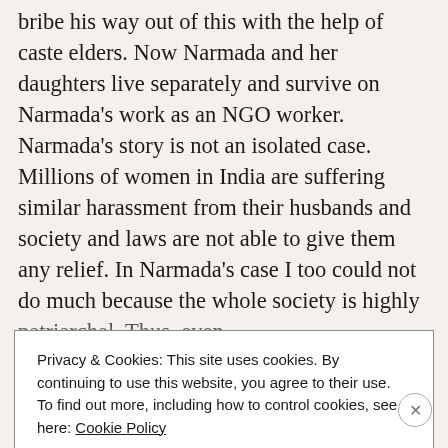bribe his way out of this with the help of caste elders. Now Narmada and her daughters live separately and survive on Narmada's work as an NGO worker. Narmada's story is not an isolated case. Millions of women in India are suffering similar harassment from their husbands and society and laws are not able to give them any relief. In Narmada's case I too could not do much because the whole society is highly patriarchal. Thus, even
Privacy & Cookies: This site uses cookies. By continuing to use this website, you agree to their use. To find out more, including how to control cookies, see here: Cookie Policy
Close and accept